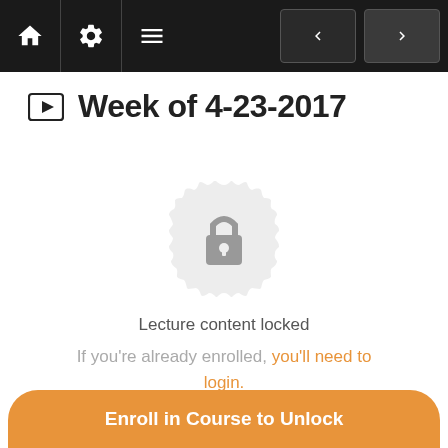[Figure (screenshot): Navigation bar with home icon, settings icon, menu icon on the left and back/forward arrow buttons on the right, on a black background]
Week of 4-23-2017
[Figure (illustration): A locked padlock icon centered on a decorative gear/cog shape, in light gray, indicating locked content]
Lecture content locked
If you're already enrolled, you'll need to login.
Enroll in Course to Unlock